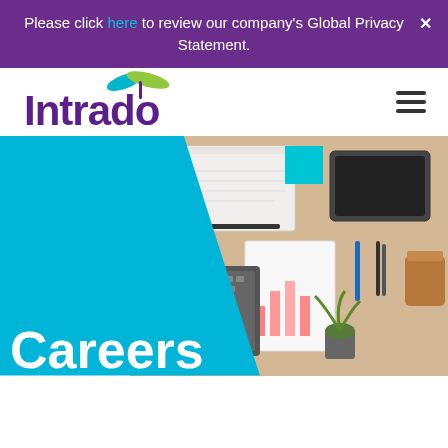Please click here to review our company's Global Privacy Statement.
[Figure (logo): Intrado logo with dragonfly graphic and purple wordmark]
[Figure (photo): Overhead view of a desk with laptop, notebook, tablet, papers with charts, pens, coffee cup, and plant]
Careers